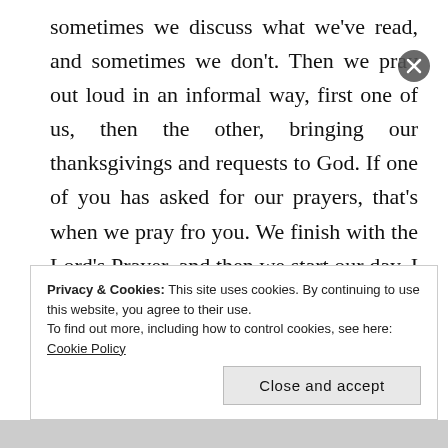sometimes we discuss what we've read, and sometimes we don't. Then we pray out loud in an informal way, first one of us, then the other, bringing our thanksgivings and requests to God. If one of you has asked for our prayers, that's when we pray fro you. We finish with the Lord's Prayer, and then we start our day. I think we're both grateful to have discovered this practice, and we would certainly recommend it to others.
Privacy & Cookies: This site uses cookies. By continuing to use this website, you agree to their use. To find out more, including how to control cookies, see here: Cookie Policy
Close and accept